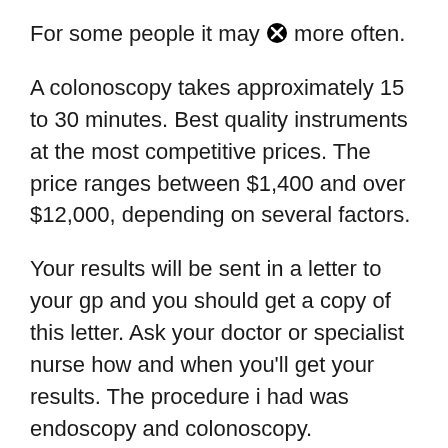For some people it may [icon] more often.
A colonoscopy takes approximately 15 to 30 minutes. Best quality instruments at the most competitive prices. The price ranges between $1,400 and over $12,000, depending on several factors.
Your results will be sent in a letter to your gp and you should get a copy of this letter. Ask your doctor or specialist nurse how and when you'll get your results. The procedure i had was endoscopy and colonoscopy.
You should be able to eat after the examination, but your doctor may restrict your diet and